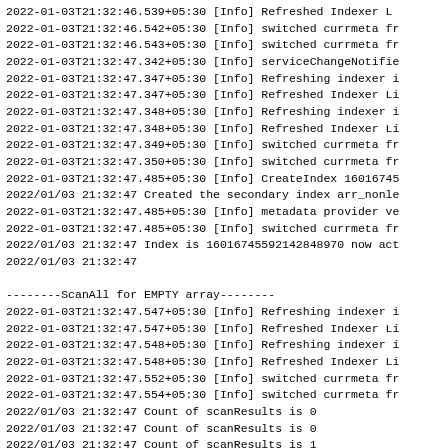2022-01-03T21:32:46.539+05:30 [Info] Refreshed Indexer L
2022-01-03T21:32:46.542+05:30 [Info] switched currmeta fr
2022-01-03T21:32:46.543+05:30 [Info] switched currmeta fr
2022-01-03T21:32:47.342+05:30 [Info] serviceChangeNotifie
2022-01-03T21:32:47.347+05:30 [Info] Refreshing indexer i
2022-01-03T21:32:47.347+05:30 [Info] Refreshed Indexer Li
2022-01-03T21:32:47.348+05:30 [Info] Refreshing indexer i
2022-01-03T21:32:47.348+05:30 [Info] Refreshed Indexer Li
2022-01-03T21:32:47.349+05:30 [Info] switched currmeta fr
2022-01-03T21:32:47.350+05:30 [Info] switched currmeta fr
2022-01-03T21:32:47.485+05:30 [Info] CreateIndex 16016745
2022/01/03 21:32:47 Created the secondary index arr_nonle
2022-01-03T21:32:47.485+05:30 [Info] metadata provider ve
2022-01-03T21:32:47.485+05:30 [Info] switched currmeta fr
2022/01/03 21:32:47 Index is 16016745592142848970 now act
2022/01/03 21:32:47

--------ScanAll for EMPTY array--------
2022-01-03T21:32:47.547+05:30 [Info] Refreshing indexer i
2022-01-03T21:32:47.547+05:30 [Info] Refreshed Indexer Li
2022-01-03T21:32:47.548+05:30 [Info] Refreshing indexer i
2022-01-03T21:32:47.548+05:30 [Info] Refreshed Indexer Li
2022-01-03T21:32:47.552+05:30 [Info] switched currmeta fr
2022-01-03T21:32:47.554+05:30 [Info] switched currmeta fr
2022/01/03 21:32:47 Count of scanResults is 0
2022/01/03 21:32:47 Count of scanResults is 0
2022/01/03 21:32:47 Count of scanResults is 1
2022/01/03 21:32:47 Key: string 458735744110023685  Value
2022/01/03 21:32:47 Expected and Actual scan responses ar
2022/01/03 21:32:47